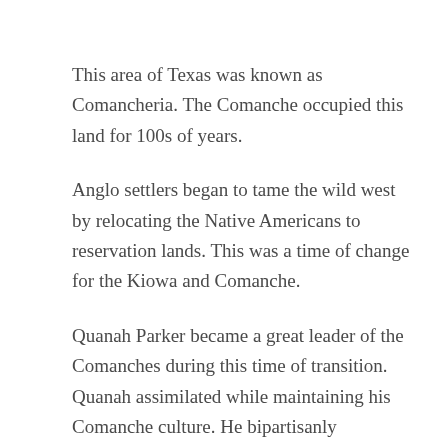This area of Texas was known as Comancheria. The Comanche occupied this land for 100s of years.
Anglo settlers began to tame the wild west by relocating the Native Americans to reservation lands. This was a time of change for the Kiowa and Comanche.
Quanah Parker became a great leader of the Comanches during this time of transition. Quanah assimilated while maintaining his Comanche culture. He bipartisanly negotiated with Anglos and Native Americans to develop mutually beneficial understandings.
Several of these arrows, celebrating Quanah Parker, can be found in  Bankhead Highway towns.